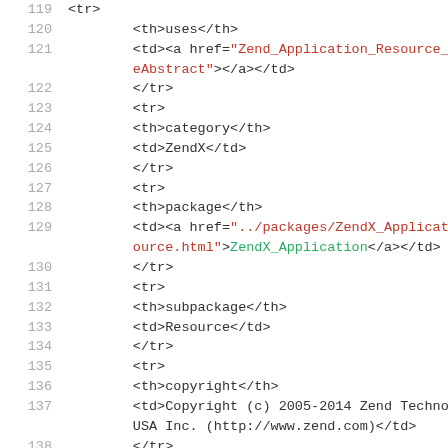[Figure (screenshot): Source code viewer showing HTML/XML code lines 119-138 with line numbers on the left in gray, tag syntax in dark gray, attribute values in red, and link text in green on a white background.]